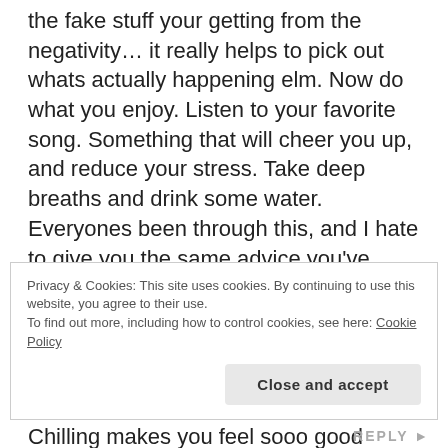the fake stuff your getting from the negativity… it really helps to pick out whats actually happening elm. Now do what you enjoy. Listen to your favorite song. Something that will cheer you up, and reduce your stress. Take deep breaths and drink some water. Everyones been through this, and I hate to give you the same advice you've probably heard but you are amazing. you will get through this, I promise- just look at you, and where you are now. We're all here for you, and it's important to get it off your chest- best feeling ever. Chilling makes you feel sooo good inside… Life has ups and downs. If it was all ups, it wouldn't be so fun… would it? Without rains
Privacy & Cookies: This site uses cookies. By continuing to use this website, you agree to their use.
To find out more, including how to control cookies, see here: Cookie Policy
Close and accept
REPLY